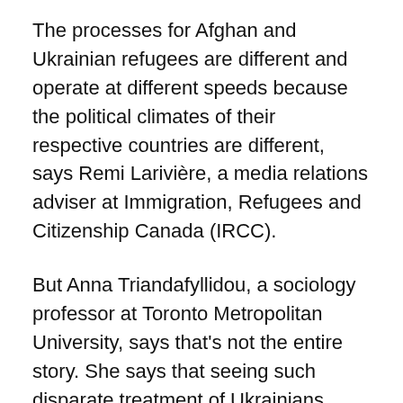The processes for Afghan and Ukrainian refugees are different and operate at different speeds because the political climates of their respective countries are different, says Remi Larivière, a media relations adviser at Immigration, Refugees and Citizenship Canada (IRCC).
But Anna Triandafyllidou, a sociology professor at Toronto Metropolitan University, says that's not the entire story. She says that seeing such disparate treatment of Ukrainians compared with other refugees reflects unfairness in our immigration process - treatment that others say may result from systemic